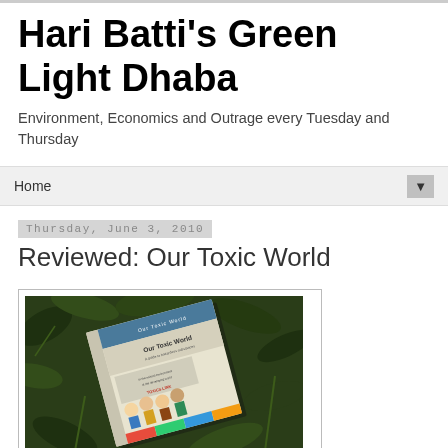Hari Batti's Green Light Dhaba
Environment, Economics and Outrage every Tuesday and Thursday
Home
Thursday, June 3, 2010
Reviewed: Our Toxic World
[Figure (photo): Photo of the book 'Our Toxic World' lying on green foliage/leaves background. The book cover shows cartoon illustrations of people and text reading 'Our Toxic World'.]